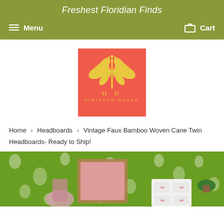Freshest Floridian Finds
Menu   Cart
[Figure (logo): Hibiscus House logo: coral/salmon square background with yellow stylized hibiscus plant illustration and text 'H H HIBISCUS HOUSE' below.]
Home › Headboards › Vintage Faux Bamboo Woven Cane Twin Headboards- Ready to Ship!
[Figure (photo): Photo of a bedroom wall with bright green tropical floral/pineapple wallpaper; a framed pink artwork leans against the wall with a patterned lamp shade visible.]
[Figure (photo): Photo of a bedroom corner with the same green tropical wallpaper; a white dresser with pink handles and a potted plant are visible.]